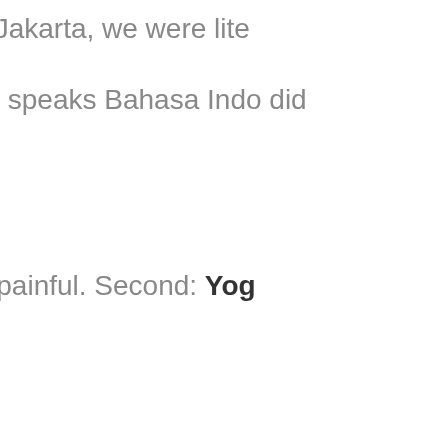I literally landed up a how much we had ri even have a fixed iti Jakarta, we were lite
Far from being appre adventure, which wo couple that I didn't e speaks Bahasa Indo did a fantastic job of 3rd trip in a span of 3 few reliable contacts
My expectations abo perspective and bec jacketed tourism exp
And so I land up see Jakarta, the sprawli concentrates, where painful. Second: Yog region where the Su